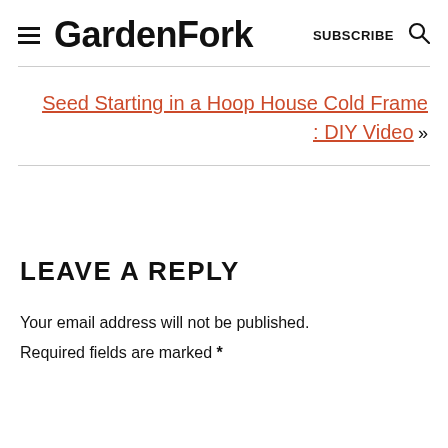GardenFork  SUBSCRIBE
Seed Starting in a Hoop House Cold Frame : DIY Video »
LEAVE A REPLY
Your email address will not be published.
Required fields are marked *